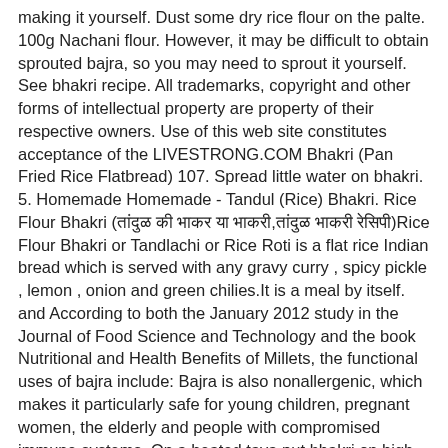making it yourself. Dust some dry rice flour on the palte. 100g Nachani flour. However, it may be difficult to obtain sprouted bajra, so you may need to sprout it yourself. See bhakri recipe. All trademarks, copyright and other forms of intellectual property are property of their respective owners. Use of this web site constitutes acceptance of the LIVESTRONG.COM Bhakri (Pan Fried Rice Flatbread) 107. Spread little water on bhakri. 5. Homemade Homemade - Tandul (Rice) Bhakri. Rice Flour Bhakri (तांदुळ की भाकर या भाकरी,तांदुळ भाकरी रेसिपी)Rice Flour Bhakri or Tandlachi or Rice Roti is a flat rice Indian bread which is served with any gravy curry , spicy pickle , lemon , onion and green chilies.It is a meal by itself. and According to both the January 2012 study in the Journal of Food Science and Technology and the book Nutritional and Health Benefits of Millets, the functional uses of bajra include: Bajra is also nonallergenic, which makes it particularly safe for young children, pregnant women, the elderly and people with compromised immune systems. On a heated tava put bhakri on high flame . Siddhi Camila